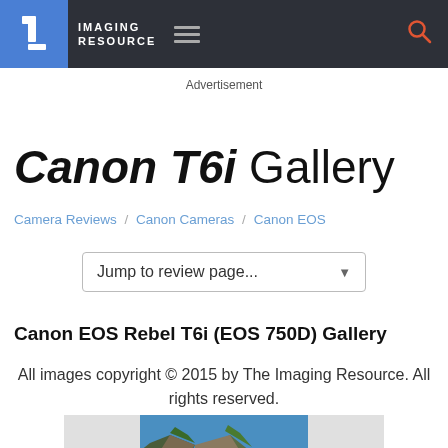IMAGING RESOURCE
Advertisement
Canon T6i Gallery
Camera Reviews / Canon Cameras / Canon EOS
Jump to review page...
Canon EOS Rebel T6i (EOS 750D) Gallery
All images copyright © 2015 by The Imaging Resource. All rights reserved.
[Figure (photo): Coastal landscape photo showing rocky cliffs with green vegetation against a blue sky and ocean water, partially visible at bottom of page]